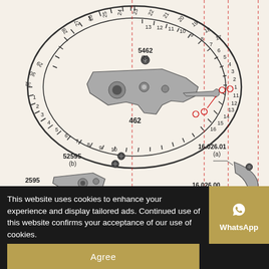[Figure (engineering-diagram): Watch movement parts diagram showing a date ring (numbered 1-31 around perimeter, labeled 2557/1), date corrector lever (462), screw set (5462(b)), jumper spring (2595), screw set (52595(b)), date driving wheel (2543), and date guards (16.026.01(a) and 16.026.00(a)). Parts connected by dashed red alignment lines.]
This website uses cookies to enhance your experience and display tailored ads. Continued use of this website confirms your acceptance of our use of cookies.